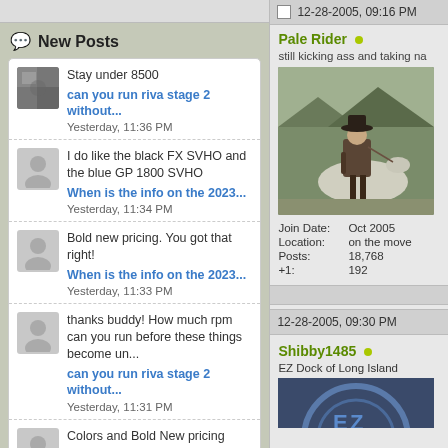New Posts
Stay under 8500
can you run riva stage 2 without...
Yesterday, 11:36 PM
I do like the black FX SVHO and the blue GP 1800 SVHO
When is the info on the 2023...
Yesterday, 11:34 PM
Bold new pricing. You got that right!
When is the info on the 2023...
Yesterday, 11:33 PM
thanks buddy! How much rpm can you run before these things become un...
can you run riva stage 2 without...
Yesterday, 11:31 PM
Colors and Bold New pricing
12-28-2005, 09:16 PM
Pale Rider
still kicking ass and taking na
[Figure (photo): Man on horseback wearing cowboy hat, western scene]
| Join Date: | Oct 2005 |
| Location: | on the move |
| Posts: | 18,768 |
| +1: | 192 |
12-28-2005, 09:30 PM
Shibby1485
EZ Dock of Long Island
[Figure (logo): EZ Dock logo partial]